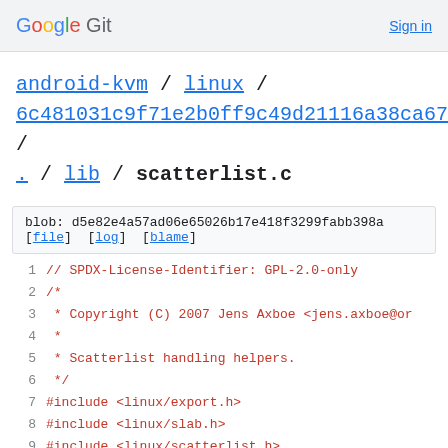Google Git  Sign in
android-kvm / linux / 6c481031c9f71e2b0ff9c49d21116a38ca671746 / . / lib / scatterlist.c
blob: d5e82e4a57ad06e65026b17e418f3299fabb398a [file] [log] [blame]
1  // SPDX-License-Identifier: GPL-2.0-only
2  /*
3   * Copyright (C) 2007 Jens Axboe <jens.axboe@or
4   *
5   * Scatterlist handling helpers.
6   */
7  #include <linux/export.h>
8  #include <linux/slab.h>
9  #include <linux/scatterlist.h>
10 #include <linux/highmem.h>